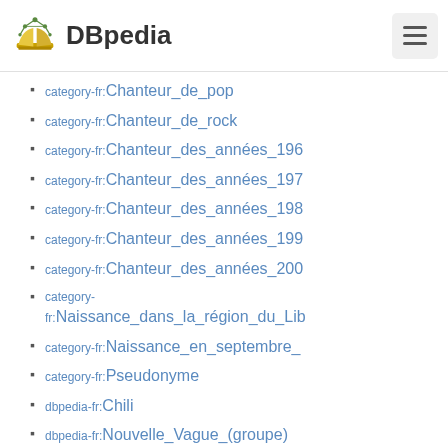DBpedia
category-fr:Chanteur_de_pop
category-fr:Chanteur_de_rock
category-fr:Chanteur_des_années_196…
category-fr:Chanteur_des_années_197…
category-fr:Chanteur_des_années_198…
category-fr:Chanteur_des_années_199…
category-fr:Chanteur_des_années_200…
category-fr:Naissance_dans_la_région_du_Lib…
category-fr:Naissance_en_septembre_…
category-fr:Pseudonyme
dbpedia-fr:Chili
dbpedia-fr:Nouvelle_Vague_(groupe)
dbpedia-fr:Pop_(musique)
dbpedia-fr:Rock
dbpedia-fr:Région_du_Libertador_Gen…